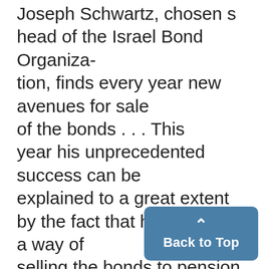Joseph Schwartz, chosen s head of the Israel Bond Organization, finds every year new avenues for sale of the bonds . . . This year his unprecedented success can be explained to a great extent by the fact that he discovered a way of selling the bonds to pension funds, labor unions, banks and insurance companies . . . He has brought his work to a point where the confidence in the Israeli bands extends beyond Jewish i... . . . The bonds have become a solid investment for anybody